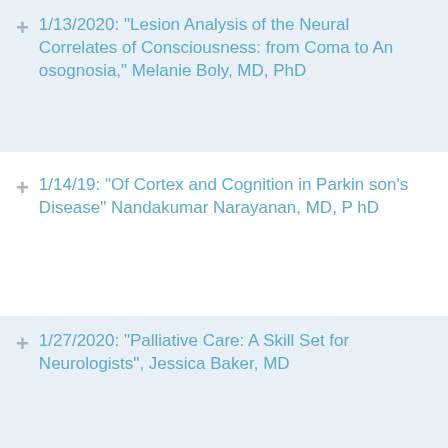1/13/2020: "Lesion Analysis of the Neural Correlates of Consciousness: from Coma to Anosognosia," Melanie Boly, MD, PhD
1/14/19: "Of Cortex and Cognition in Parkinson's Disease" Nandakumar Narayanan, MD, PhD
1/27/2020: "Palliative Care: A Skill Set for Neurologists", Jessica Baker, MD
1/28/19: "Joint Genetic Contribution to Different Phenotypes Associated with Cerebral Small Vessel Disease," Guido Falcone, MD, ScD, MPH
10/1/18: "Regulatory B-cells for Adoptive Cell Therapy of Neuro-Inflammatory Disorders," Jacques Galipeau, MD